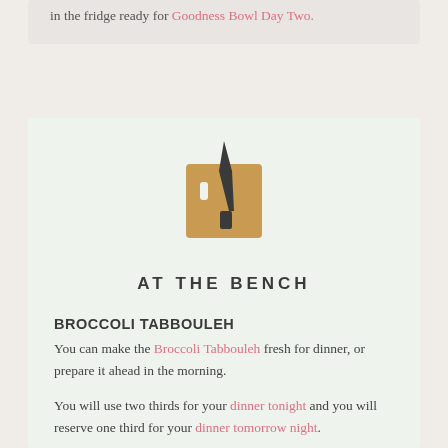in the fridge ready for Goodness Bowl Day Two.
[Figure (logo): Cutting board with knife logo above text AT THE BENCH]
BROCCOLI TABBOULEH
You can make the Broccoli Tabbouleh fresh for dinner, or prepare it ahead in the morning.
You will use two thirds for your dinner tonight and you will reserve one third for your dinner tomorrow night.